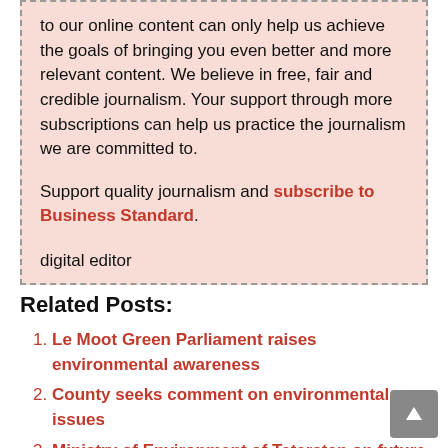to our online content can only help us achieve the goals of bringing you even better and more relevant content. We believe in free, fair and credible journalism. Your support through more subscriptions can help us practice the journalism we are committed to.
Support quality journalism and subscribe to Business Standard.
digital editor
Related Posts:
Le Moot Green Parliament raises environmental awareness
County seeks comment on environmental issues
Ministry of Environment of Tatarstan on future environmental issues – RealnoeVremya.com
Supreme Court questions Green Panel's powers over environmental issues